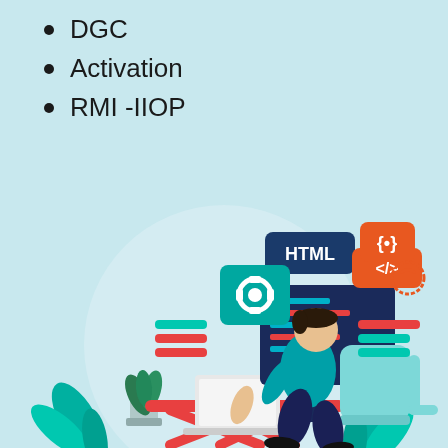DGC
Activation
RMI -IIOP
[Figure (illustration): Illustration of a developer sitting at an orange X-shaped desk with a laptop, a large monitor showing code (HTML, CSS, JS icons floating around), plants on the left, a teal chair, and decorative geometric elements. Set inside a light circular background.]